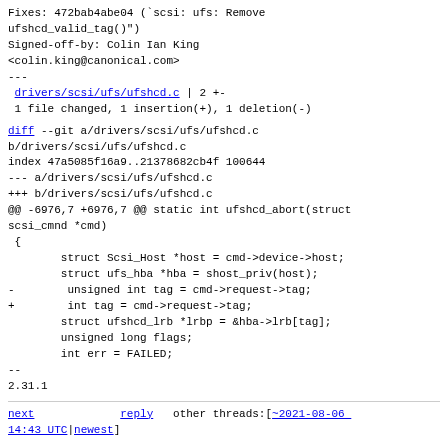Fixes: 472bab4abe04 ('scsi: ufs: Remove
ufshcd_valid_tag()')
Signed-off-by: Colin Ian King
<colin.king@canonical.com>
---
 drivers/scsi/ufs/ufshcd.c | 2 +-
 1 file changed, 1 insertion(+), 1 deletion(-)
diff --git a/drivers/scsi/ufs/ufshcd.c b/drivers/scsi/ufs/ufshcd.c
index 47a5085f16a9..21378682cb4f 100644
--- a/drivers/scsi/ufs/ufshcd.c
+++ b/drivers/scsi/ufs/ufshcd.c
@@ -6976,7 +6976,7 @@ static int ufshcd_abort(struct scsi_cmnd *cmd)
 {
         struct Scsi_Host *host = cmd->device->host;
         struct ufs_hba *hba = shost_priv(host);
-        unsigned int tag = cmd->request->tag;
+        int tag = cmd->request->tag;
         struct ufshcd_lrb *lrbp = &hba->lrb[tag];
         unsigned long flags;
         int err = FAILED;
--
2.31.1
next   reply   other threads:[~2021-08-06 14:43 UTC|newest]